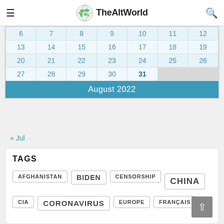TheAltWorld
| 6 | 7 | 8 | 9 | 10 | 11 | 12 |
| 13 | 14 | 15 | 16 | 17 | 18 | 19 |
| 20 | 21 | 22 | 23 | 24 | 25 | 26 |
| 27 | 28 | 29 | 30 | 31 |  |  |
August 2022
« Jul
TAGS
AFGHANISTAN
BIDEN
CENSORSHIP
CHINA
CIA
CORONAVIRUS
EUROPE
FRANÇAIS